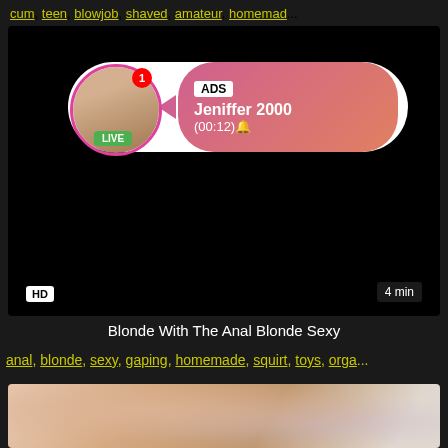cum, teen, blowjob, shaved, amateur, homemad...
[Figure (screenshot): Video thumbnail with black background, HD badge bottom left, 4 min duration badge bottom right, and an ad popup overlay showing a live user named Jeniffer 2000 with a (00:12) timer]
Blonde With The Anal Blonde Sexy
anal, blonde, sexy, gaping, homemade, squirt, toys, orga...
[Figure (photo): Bottom thumbnail showing adult content]